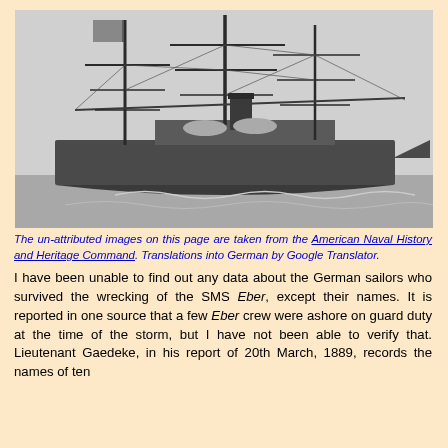[Figure (photo): Black and white photograph of the SMS Eber, a sailing ship with multiple masts and a smokestack, sailing on water with waves at the bow.]
The un-attributed images on this page are taken from the American Naval History and Heritage Command. Translations into German by Google Translator.
I have been unable to find out any data about the German sailors who survived the wrecking of the SMS Eber, except their names. It is reported in one source that a few Eber crew were ashore on guard duty at the time of the storm, but I have not been able to verify that. Lieutenant Gaedeke, in his report of 20th March, 1889, records the names of ten